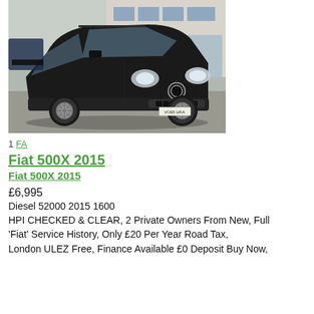[Figure (photo): Black Fiat 500X 2015 SUV parked outside a building, front three-quarter view]
1 FA
Fiat 500X 2015
Fiat 500X 2015
£6,995
Diesel 52000 2015 1600
HPI CHECKED & CLEAR, 2 Private Owners From New, Full 'Fiat' Service History, Only £20 Per Year Road Tax, London ULEZ Free, Finance Available £0 Deposit Buy Now,